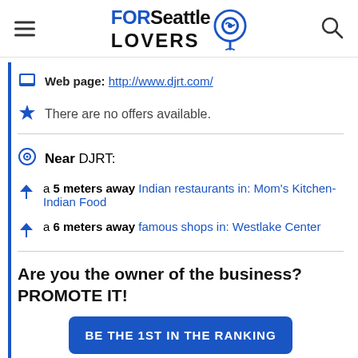FORSeattle LOVERS
Web page: http://www.djrt.com/
There are no offers available.
Near DJRT:
a 5 meters away Indian restaurants in: Mom's Kitchen-Indian Food
a 6 meters away famous shops in: Westlake Center
Are you the owner of the business? PROMOTE IT!
BE THE 1ST IN THE RANKING
EXCLUSIVE PAGE